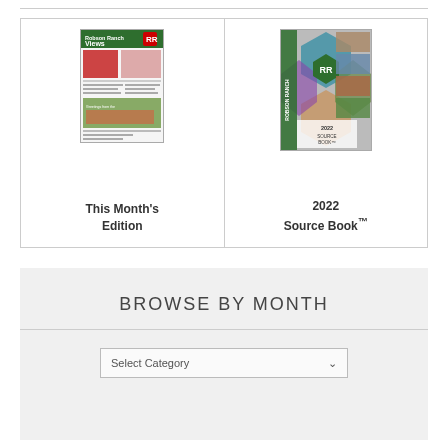[Figure (illustration): Robson Ranch Views newspaper cover - This Month's Edition]
This Month's Edition
[Figure (illustration): Robson Ranch 2022 Source Book cover]
2022 Source Book™
BROWSE BY MONTH
Select Category